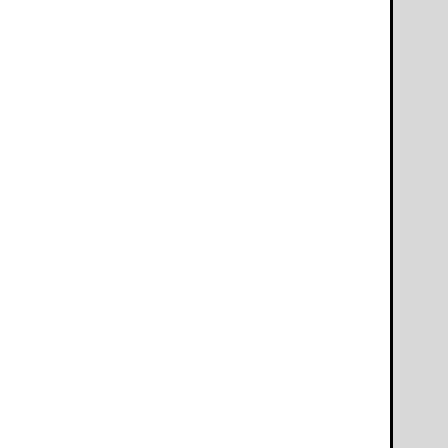areas as shall be deemed approp
determine the feasibility of requi
d. examine the process by which with state law;
examine means for providing mo public authorities and analyze th
f. examine means for report
(i) the economic impact of i
Jii) the impact of the budge
(iii) the impact of the budge
governments and governmental a
(iv) the cost projections of the recommendations on services pr
(v) performance measures inc performance measurement system designed to provide the le efficiency of the state's activities
8. identify and review such oth